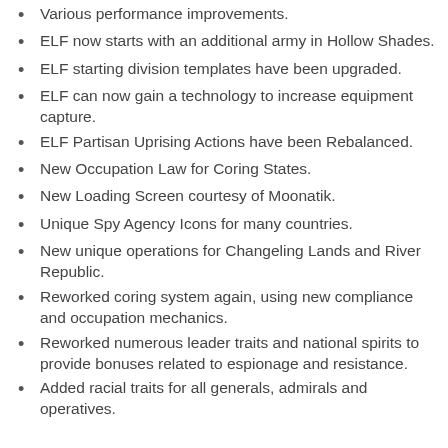Various performance improvements.
ELF now starts with an additional army in Hollow Shades.
ELF starting division templates have been upgraded.
ELF can now gain a technology to increase equipment capture.
ELF Partisan Uprising Actions have been Rebalanced.
New Occupation Law for Coring States.
New Loading Screen courtesy of Moonatik.
Unique Spy Agency Icons for many countries.
New unique operations for Changeling Lands and River Republic.
Reworked coring system again, using new compliance and occupation mechanics.
Reworked numerous leader traits and national spirits to provide bonuses related to espionage and resistance.
Added racial traits for all generals, admirals and operatives.